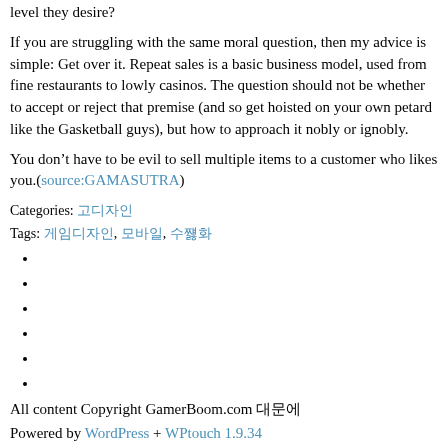level they desire?
If you are struggling with the same moral question, then my advice is simple: Get over it. Repeat sales is a basic business model, used from fine restaurants to lowly casinos. The question should not be whether to accept or reject that premise (and so get hoisted on your own petard like the Gasketball guys), but how to approach it nobly or ignobly.
You don’t have to be evil to sell multiple items to a customer who likes you.(source:GAMASUTRA)
Categories: 고디자인
Tags: 게임디자인, 모바일, 수익화
All content Copyright GamerBoom.com 대문에
Powered by WordPress + WPtouch 1.9.34